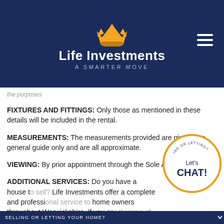[Figure (logo): Life Investments logo with crown icon and tagline 'A SMARTER MOVE' on dark navy background]
the purposes
FIXTURES AND FITTINGS: Only those as mentioned in these details will be included in the rental.
MEASUREMENTS: The measurements provided are given as a general guide only and are all approximate.
VIEWING: By prior appointment through the Sole Agents.
ADDITIONAL SERVICES: Do you have a house to sell? Life Investments offer a complete and professional service to home owners throughout Warwickshire. If you are thinking of selling your home, Life Investments offer you a Free with no obligation whatsoever. Please call us today for a free no obligation competitive fee.
[Figure (illustration): Circular chat widget with orange border, text 'SELLING OR LETTING?' around arc, 'Let's CHAT!' in center, with cartoon character below]
SELLING OR LETTING YOUR HOME?